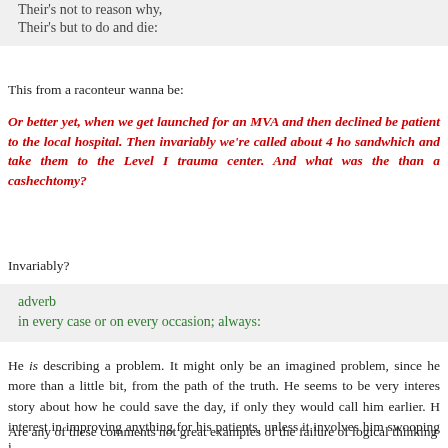Their's not to reason why,
Their's but to do and die:
This from a raconteur wanna be:
Or better yet, when we get launched for an MVA and then declined be patient to the local hospital. Then invariably we're called about 4 ho sandwhich and take them to the Level I trauma center. And what was the than a cashechtomy?
Invariably?
adverb
in every case or on every occasion; always:
He is describing a problem. It might only be an imagined problem, since he more than a little bit, from the path of the truth. He seems to be very interes story about how he could save the day, if only they would call him earlier. H interest in improving anything for his patients, unless it involves him swooping i
Are any of these comments not great examples of the failure of logical thinking
Better safe than sorry imagines that transport by HEMS is not any more dang Not only that, he claims that transport by HEMS is safer than transport by grou